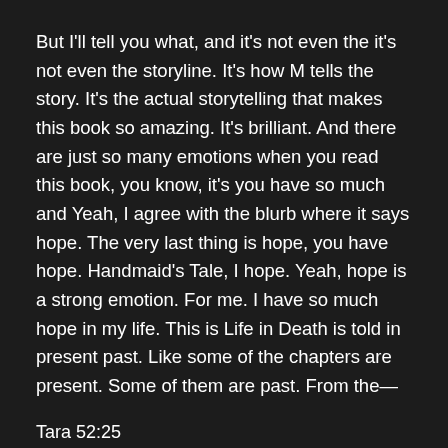But I'll tell you what, and it's not even the it's not even the storyline. It's how M tells the story. It's the actual storytelling that makes this book so amazing. It's brilliant. And there are just so many emotions when you read this book, you know, it's you have so much and Yeah, I agree with the blurb where it says hope. The very last thing is hope, you have hope. Handmaid's Tale, I hope. Yeah, hope is a strong emotion. For me. I have so much hope in my life. This is Life in Death is told in present past. Like some of the chapters are present. Some of them are past. From the—
Tara 52:25
Yeah, two timelines.